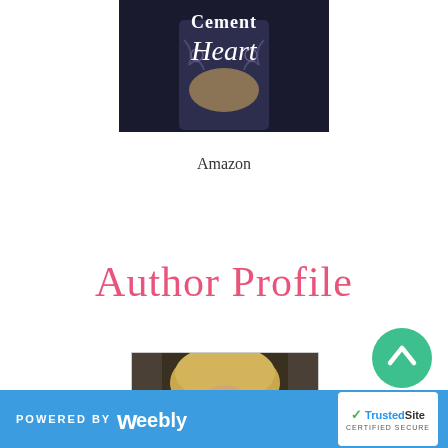[Figure (photo): Book cover image for 'Cement Heart' showing tattooed hands clasped together with dark romantic styling]
Amazon
Author Profile
[Figure (photo): Author profile photo showing a person with blonde hair]
[Figure (other): Scroll to top button - green circle with upward chevron arrow]
POWERED BY weebly | TrustedSite CERTIFIED SECURE